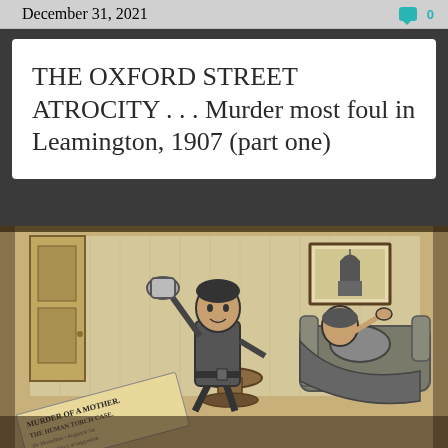December 31, 2021  0
THE OXFORD STREET ATROCITY . . . Murder most foul in Leamington, 1907 (part one)
[Figure (illustration): Victorian-era black and white illustration showing a man raising a vessel threateningly over a woman cowering on a sofa. A newspaper with headline 'MURDER OF A MOTHER' / 'HUMAN TORCH CASE' is visible in the foreground. The scene is set in a domestic interior with wallpaper, a framed picture on the wall, and a small round table with a cup.]